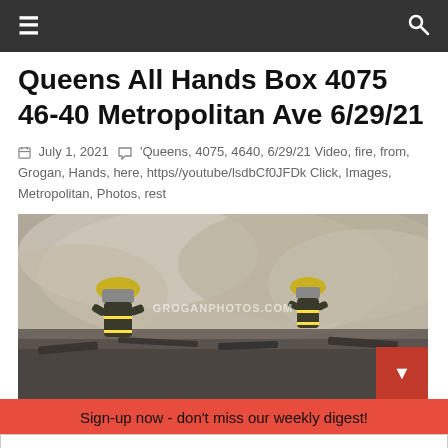Navigation bar with menu and search icons
Queens All Hands Box 4075 46-40 Metropolitan Ave 6/29/21
July 1, 2021  'Queens, 4075, 4640, 6/29/21 Video, fire, from, Grogan, Hands, here, https//youtube/lsdbCf0JFDk Click, Images, Metropolitan, Photos, rest
[Figure (photo): Firefighters working at a fire scene with heavy smoke and debris, watermark reads GROGANPHOTOS.COM]
Sign-up now - don't miss our weekly digest!
Your email address..
Subscribe